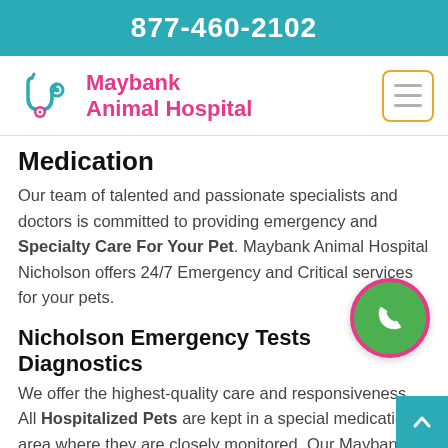877-460-2102
[Figure (logo): Maybank Animal Hospital logo with teal stethoscope and pet icon, pink text reading Maybank Animal Hospital]
Medication
Our team of talented and passionate specialists and doctors is committed to providing emergency and Specialty Care For Your Pet. Maybank Animal Hospital Nicholson offers 24/7 Emergency and Critical services for your pets.
Nicholson Emergency Tests Diagnostics
We offer the highest-quality care and responsiveness. All Hospitalized Pets are kept in a special medication area where they are closely monitored. Our Maybank Animal Hospital Nicholson's team is knowledgeable in providing surgical, diagnostic, and medical care for pets to promise a